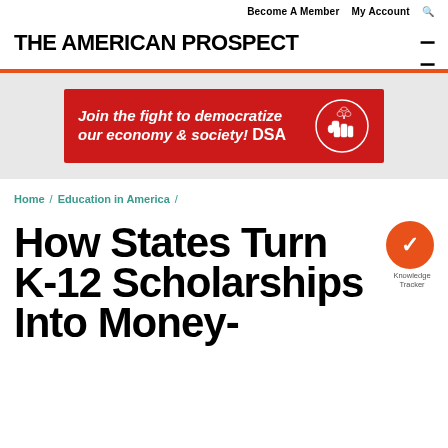THE AMERICAN PROSPECT | Become A Member | My Account
[Figure (infographic): DSA advertisement banner: 'Join the fight to democratize our economy & society! DSA' on red background with DSA logo/illustration on right]
Home / Education in America /
How States Turn K-12 Scholarships Into Money-